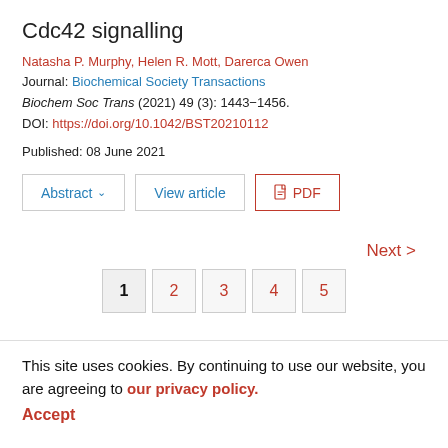Cdc42 signalling
Natasha P. Murphy, Helen R. Mott, Darerca Owen
Journal: Biochemical Society Transactions
Biochem Soc Trans (2021) 49 (3): 1443–1456.
DOI: https://doi.org/10.1042/BST20210112
Published: 08 June 2021
Abstract  View article  PDF
Next >
1  2  3  4  5
This site uses cookies. By continuing to use our website, you are agreeing to our privacy policy. Accept